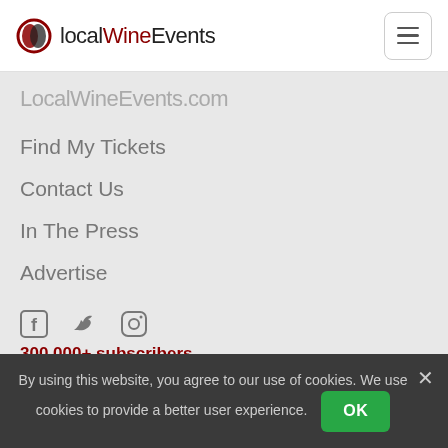localWineEvents
LocalWineEvents.com
Find My Tickets
Contact Us
In The Press
Advertise
[Figure (infographic): Social media icons: Facebook, Twitter, Instagram]
300,000+ subscribers
Events
Virtual Tastings
By using this website, you agree to our use of cookies. We use cookies to provide a better user experience.